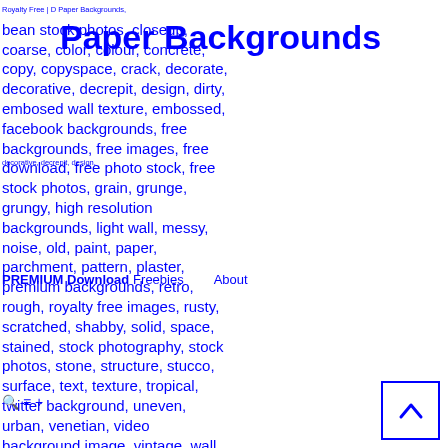Royalty Free | D Paper Backgrounds,
Paper Backgrounds
bright, brush, caribbean, cement, bean stock photos, closeup, coarse, color, colour, concrete, copy, copyspace, crack, decorate, decorative, decrepit, design, dirty, embosed wall texture, embossed, facebook backgrounds, free backgrounds, free images, free download, free photo stock, free stock photos, grain, grunge, grungy, high resolution backgrounds, light wall, messy, noise, old, paint, paper, parchment, pattern, plaster, premium backgrounds, retro, rough, royalty free images, rusty, scratched, shabby, solid, space, stained, stock photography, stock photos, stone, structure, stucco, surface, text, texture, tropical, twitter background, uneven, urban, venetian, video background image, vintage, wall, wallpaper, wallpaper for desktop, weathered, yellow